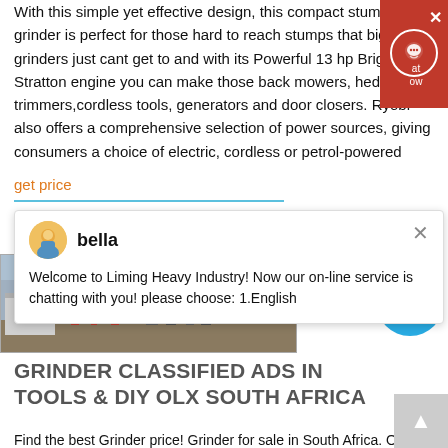With this simple yet effective design, this compact stump grinder is perfect for those hard to reach stumps that big grinders just cant get to and with its Powerful 13 hp Briggs and Stratton engine you can make those back mowers, hedge trimmers,cordless tools, generators and door closers. Ryobi also offers a comprehensive selection of power sources, giving consumers a choice of electric, cordless or petrol-powered
get price
bella
Welcome to Liming Heavy Industry! Now our on-line service is chatting with you! please choose: 1.English
[Figure (photo): Industrial machinery / grinder equipment at an outdoor site with red metallic structures]
GRINDER CLASSIFIED ADS IN TOOLS & DIY OLX SOUTH AFRICA
Find the best Grinder price! Grinder for sale in South Africa. OLX